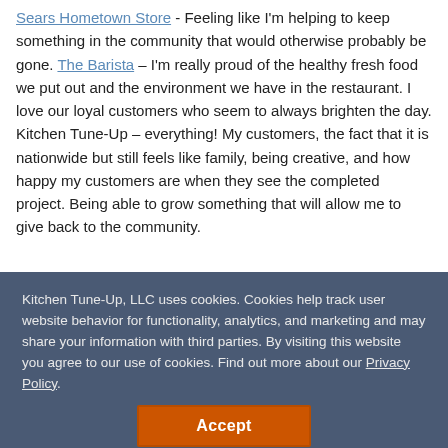Sears Hometown Store - Feeling like I'm helping to keep something in the community that would otherwise probably be gone. The Barista – I'm really proud of the healthy fresh food we put out and the environment we have in the restaurant. I love our loyal customers who seem to always brighten the day. Kitchen Tune-Up – everything! My customers, the fact that it is nationwide but still feels like family, being creative, and how happy my customers are when they see the completed project. Being able to grow something that will allow me to give back to the community.
Kitchen Tune-Up, LLC uses cookies. Cookies help track user website behavior for functionality, analytics, and marketing and may share your information with third parties. By visiting this website you agree to our use of cookies. Find out more about our Privacy Policy.